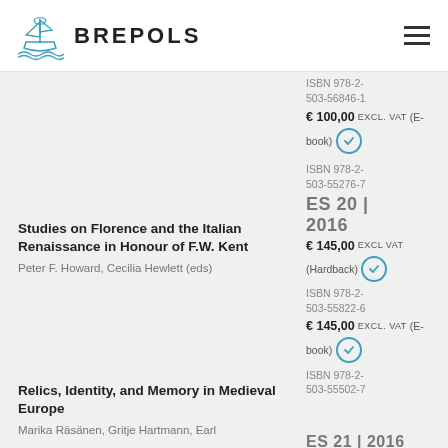BREPOLS
ISBN 978-2-503-56846-1
€ 100,00 EXCL. VAT (E-book)
Studies on Florence and the Italian Renaissance in Honour of F.W. Kent
Peter F. Howard, Cecilia Hewlett (eds)
ISBN 978-2-503-55276-7
ES 20 | 2016
€ 145,00 EXCL VAT (Hardback)
ISBN 978-2-503-55822-6
€ 145,00 EXCL. VAT (E-book)
ISBN 978-2-503-55502-7
Relics, Identity, and Memory in Medieval Europe
Marika Räsänen, Gritje Hartmann, Earl
ES 21 | 2016